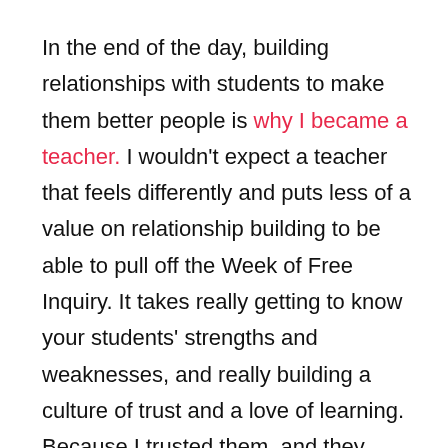In the end of the day, building relationships with students to make them better people is why I became a teacher. I wouldn't expect a teacher that feels differently and puts less of a value on relationship building to be able to pull off the Week of Free Inquiry. It takes really getting to know your students' strengths and weaknesses, and really building a culture of trust and a love of learning. Because I trusted them, and they respect me to the point that they will go to the ends of the earth to impress me, they were able to accomplish amazing things during this highly